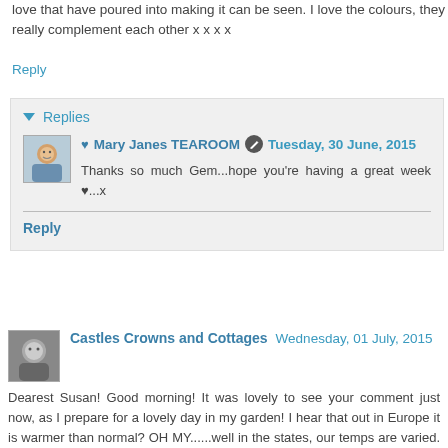love that have poured into making it can be seen. I love the colours, they really complement each other x x x x
Reply
Replies
♥ Mary Janes TEAROOM  Tuesday, 30 June, 2015
Thanks so much Gem...hope you're having a great week ♥...x
Reply
Castles Crowns and Cottages  Wednesday, 01 July, 2015
Dearest Susan! Good morning! It was lovely to see your comment just now, as I prepare for a lovely day in my garden! I hear that out in Europe it is warmer than normal? OH MY......well in the states, our temps are varied. Out in the northwest, they are getting a lot of heat, but here we are a bit cooler. We don't get off that easy though; we had a